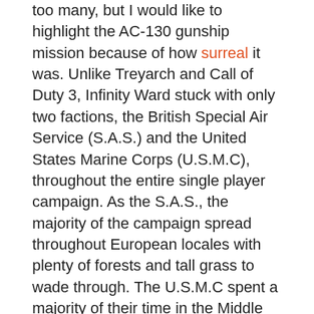too many, but I would like to highlight the AC-130 gunship mission because of how surreal it was. Unlike Treyarch and Call of Duty 3, Infinity Ward stuck with only two factions, the British Special Air Service (S.A.S.) and the United States Marine Corps (U.S.M.C), throughout the entire single player campaign. As the S.A.S., the majority of the campaign spread throughout European locales with plenty of forests and tall grass to wade through. The U.S.M.C spent a majority of their time in the Middle East with its trademark brown urban setting. Both sides have their fair share of excellent moments, but I will have to give a nod to the sniper mission on the S.A.S. half; that rollercoaster of events was just something I had never experienced in a game before.
One of the reasons why I enjoyed the S.A.S. sniper mission so much could be attributed to the fact that it strayed far away from the Call of Duty “go there to shut off the flow of enemy soldiers” formula. In an effort to convey the experience of overcoming incredible amounts of enemy pressure, the developers continuously spawn enemies onto the battlefield until I reached a checkpoint and effectively “shut off the flow of enemies”. It did not matter if it was physically impossible to fit 30 soldiers in that dinky shack, no matter what I did the